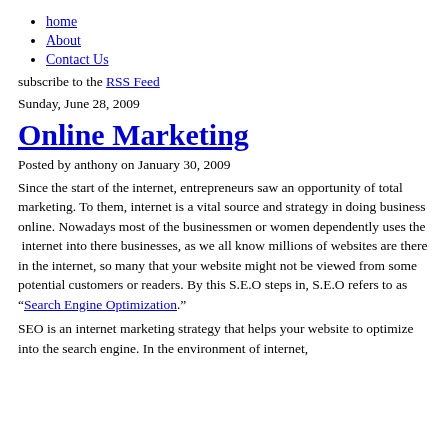home
About
Contact Us
subscribe to the RSS Feed
Sunday, June 28, 2009
Online Marketing
Posted by anthony on January 30, 2009
Since the start of the internet, entrepreneurs saw an opportunity of total marketing. To them, internet is a vital source and strategy in doing business online. Nowadays most of the businessmen or women dependently uses the  internet into there businesses, as we all know millions of websites are there in the internet, so many that your website might not be viewed from some potential customers or readers. By this S.E.O steps in, S.E.O refers to as “Search Engine Optimization.”
SEO is an internet marketing strategy that helps your website to optimize into the search engine. In the environment of internet,